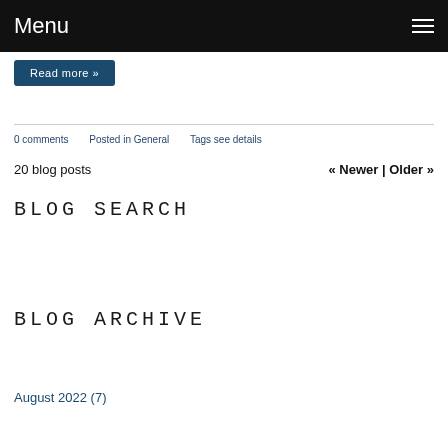Menu
Read more
0 comments   Posted in General   Tags see details
20 blog posts   « Newer | Older »
BLOG SEARCH
[Figure (other): Search input box and Search button]
BLOG ARCHIVE
August 2022 (7)